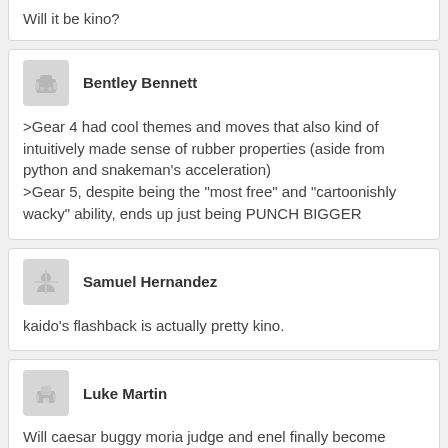Will it be kino?
Bentley Bennett
>Gear 4 had cool themes and moves that also kind of intuitively made sense of rubber properties (aside from python and snakeman's acceleration)
>Gear 5, despite being the "most free" and "cartoonishly wacky" ability, ends up just being PUNCH BIGGER
Samuel Hernandez
kaido's flashback is actually pretty kino.
Luke Martin
Will caesar buggy moria judge and enel finally become important characters again